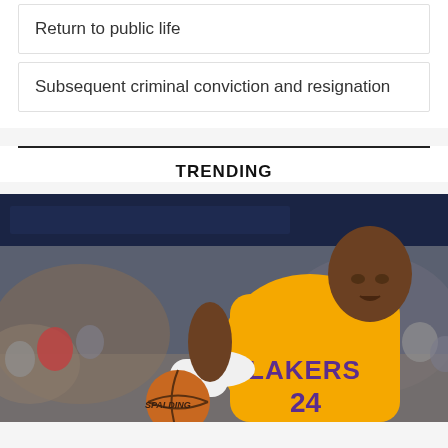Return to public life
Subsequent criminal conviction and resignation
TRENDING
[Figure (photo): Basketball player wearing a yellow Los Angeles Lakers jersey number 24 dribbling a Spalding basketball, with a crowd in the background. The player appears to be Kobe Bryant.]